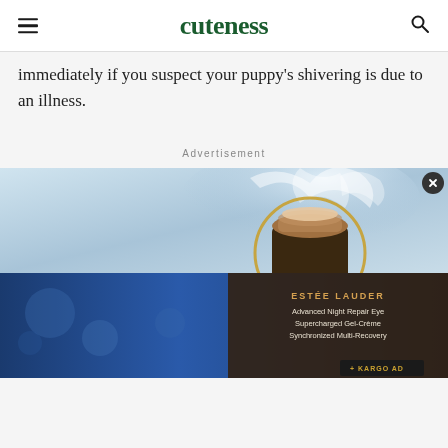cuteness
immediately if you suspect your puppy's shivering is due to an illness.
Advertisement
[Figure (photo): Estee Lauder Advanced Night Repair Eye Supercharged Gel-Creme Synchronized Multi-Recovery advertisement showing a cream jar with water splash on blue background, with Kargo AD badge]